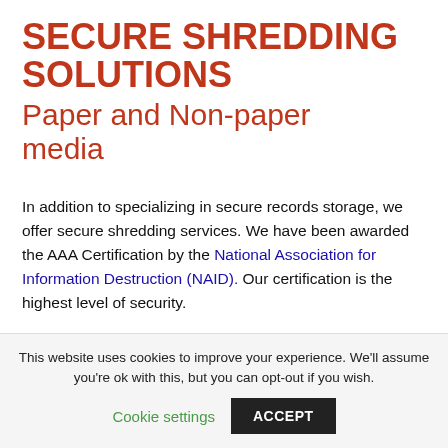SECURE SHREDDING SOLUTIONS
Paper and Non-paper media
In addition to specializing in secure records storage, we offer secure shredding services. We have been awarded the AAA Certification by the National Association for Information Destruction (NAID).  Our certification is the highest level of security.
This website uses cookies to improve your experience. We'll assume you're ok with this, but you can opt-out if you wish.
Cookie settings  ACCEPT